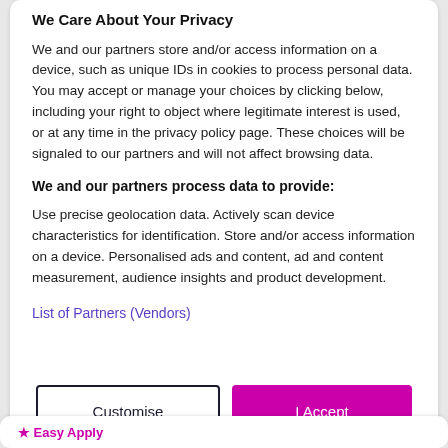We Care About Your Privacy
We and our partners store and/or access information on a device, such as unique IDs in cookies to process personal data. You may accept or manage your choices by clicking below, including your right to object where legitimate interest is used, or at any time in the privacy policy page. These choices will be signaled to our partners and will not affect browsing data.
We and our partners process data to provide:
Use precise geolocation data. Actively scan device characteristics for identification. Store and/or access information on a device. Personalised ads and content, ad and content measurement, audience insights and product development.
List of Partners (Vendors)
Customise
I Accept
Easy Apply